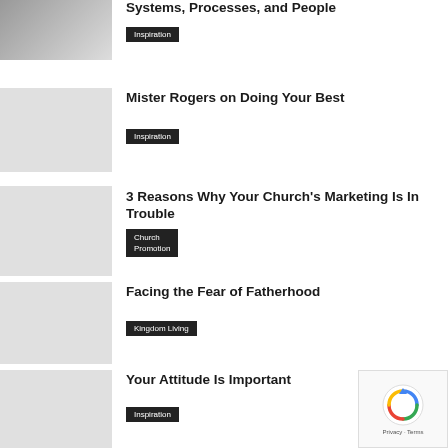[Figure (photo): Thumbnail image partially visible at top]
Systems, Processes, and People
Inspiration
Mister Rogers on Doing Your Best
Inspiration
3 Reasons Why Your Church's Marketing Is In Trouble
Church Promotion
Facing the Fear of Fatherhood
Kingdom Living
Your Attitude Is Important
Inspiration